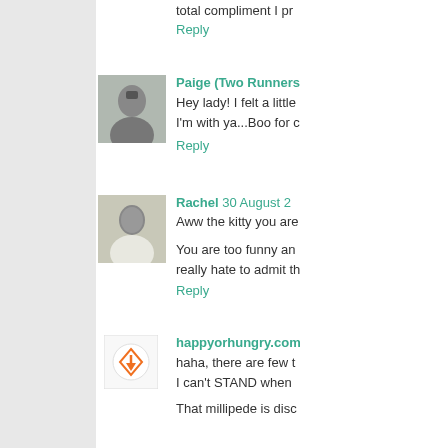total compliment I pr
Reply
[Figure (photo): Profile photo of Paige, woman in athletic wear]
Paige (Two Runners
Hey lady! I felt a little
I'm with ya...Boo for c
Reply
[Figure (photo): Profile photo of Rachel, woman in white outfit making hand gesture]
Rachel  30 August 2
Aww the kitty you are
You are too funny an
really hate to admit th
Reply
[Figure (logo): happyorhungry.com logo with orange arrow icon]
happyorhungry.com
haha, there are few t
I can't STAND when
That millipede is disc